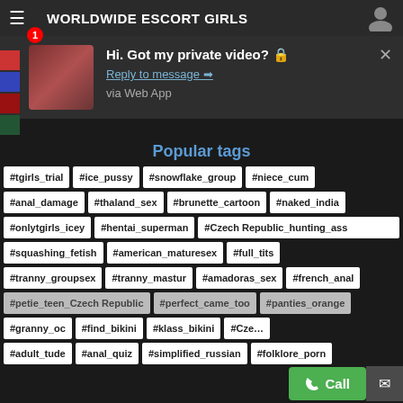WORLDWIDE ESCORT GIRLS
Hi. Got my private video? 🔒
Reply to message ➡
via Web App
Popular tags
#tgirls_trial
#ice_pussy
#snowflake_group
#niece_cum
#anal_damage
#thaland_sex
#brunette_cartoon
#naked_india
#onlytgirls_icey
#hentai_superman
#Czech Republic_hunting_ass
#squashing_fetish
#american_maturesex
#full_tits
#tranny_groupsex
#tranny_mastur
#amadoras_sex
#french_anal
#petie_teen_Czech Republic
#perfect_came_too
#panties_orange
#granny_oc
#find_bikini
#klass_bikini
#adult_tude
#anal_quiz
#simplified_russian
#folklore_porn